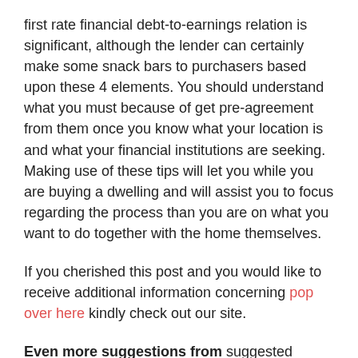first rate financial debt-to-earnings relation is significant, although the lender can certainly make some snack bars to purchasers based upon these 4 elements. You should understand what you must because of get pre-agreement from them once you know what your location is and what your financial institutions are seeking. Making use of these tips will let you while you are buying a dwelling and will assist you to focus regarding the process than you are on what you want to do together with the home themselves.
If you cherished this post and you would like to receive additional information concerning pop over here kindly check out our site.
Even more suggestions from suggested publishers: